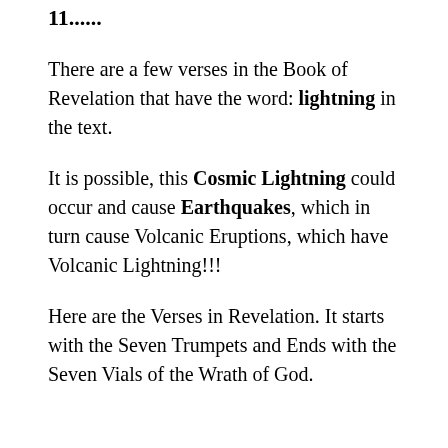11......
There are a few verses in the Book of Revelation that have the word: lightning in the text.
It is possible, this Cosmic Lightning could occur and cause Earthquakes, which in turn cause Volcanic Eruptions, which have Volcanic Lightning!!!
Here are the Verses in Revelation. It starts with the Seven Trumpets and Ends with the Seven Vials of the Wrath of God.